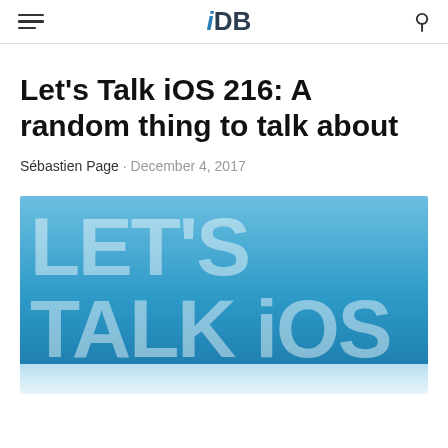iDB
Let's Talk iOS 216: A random thing to talk about
Sébastien Page · December 4, 2017
[Figure (illustration): Banner image with blue gradient background showing large text 'LET'S TALK iOS' in semi-transparent white letters]